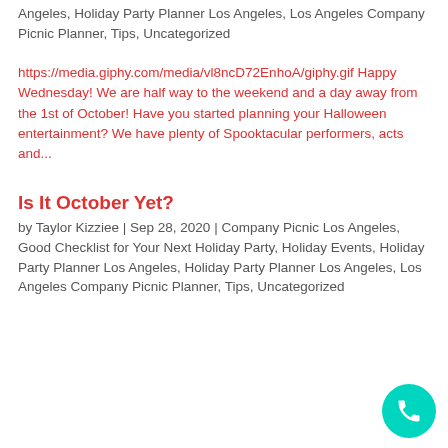Angeles, Holiday Party Planner Los Angeles, Los Angeles Company Picnic Planner, Tips, Uncategorized
https://media.giphy.com/media/vl8ncD72EnhoA/giphy.gif Happy Wednesday! We are half way to the weekend and a day away from the 1st of October! Have you started planning your Halloween entertainment? We have plenty of Spooktacular performers, acts and...
Is It October Yet?
by Taylor Kizziee | Sep 28, 2020 | Company Picnic Los Angeles, Good Checklist for Your Next Holiday Party, Holiday Events, Holiday Party Planner Los Angeles, Holiday Party Planner Los Angeles, Los Angeles Company Picnic Planner, Tips, Uncategorized